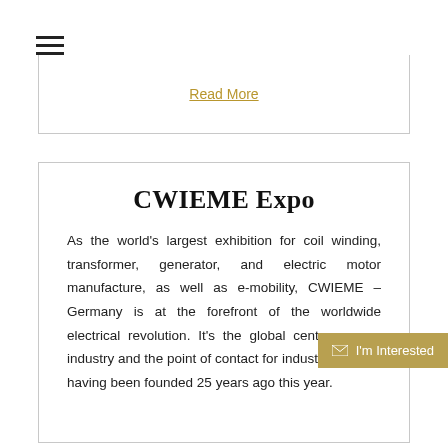☰
Read More
CWIEME Expo
As the world's largest exhibition for coil winding, transformer, generator, and electric motor manufacture, as well as e-mobility, CWIEME – Germany is at the forefront of the worldwide electrical revolution. It's the global cent… industry and the point of contact for industry leaders, having been founded 25 years ago this year.